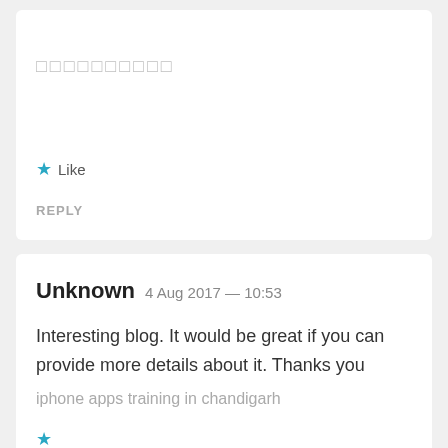□□□□□□□□□□
★ Like
REPLY
Unknown  4 Aug 2017 — 10:53
Interesting blog. It would be great if you can provide more details about it. Thanks you
iphone apps training in chandigarh
★